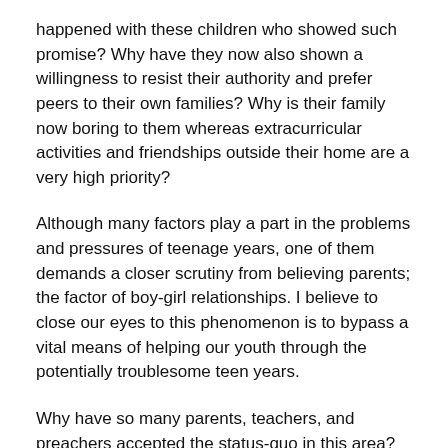happened with these children who showed such promise? Why have they now also shown a willingness to resist their authority and prefer peers to their own families? Why is their family now boring to them whereas extracurricular activities and friendships outside their home are a very high priority?
Although many factors play a part in the problems and pressures of teenage years, one of them demands a closer scrutiny from believing parents; the factor of boy-girl relationships. I believe to close our eyes to this phenomenon is to bypass a vital means of helping our youth through the potentially troublesome teen years.
Why have so many parents, teachers, and preachers accepted the status-quo in this area? Must we accept things the way they are simply because it is popular and acceptable, or do we have the authority, responsibility and desire to amend what is proving to be a major factor in the spiritual demise of our teens.